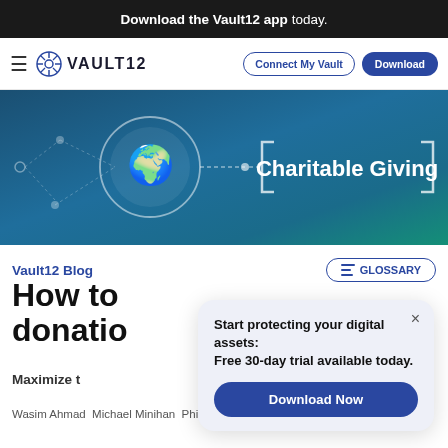Download the Vault12 app today.
[Figure (screenshot): Vault12 navigation bar with logo, hamburger menu, Connect My Vault and Download buttons]
[Figure (illustration): Hero banner with teal/blue gradient background, network nodes, hands holding globe icon, and Charitable Giving text in bracket frame]
Vault12 Blog
GLOSSARY
How to make donations
Maximize t
Wasim Ahmad Michael Minihan Phil Berg Blake Commagere
Start protecting your digital assets: Free 30-day trial available today.
Download Now